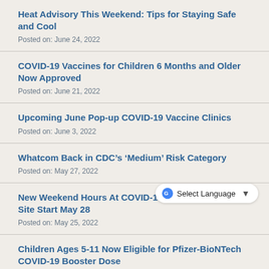Heat Advisory This Weekend: Tips for Staying Safe and Cool
Posted on: June 24, 2022
COVID-19 Vaccines for Children 6 Months and Older Now Approved
Posted on: June 21, 2022
Upcoming June Pop-up COVID-19 Vaccine Clinics
Posted on: June 3, 2022
Whatcom Back in CDC’s ‘Medium’ Risk Category
Posted on: May 27, 2022
New Weekend Hours At COVID-19 Community Testing Site Start May 28
Posted on: May 25, 2022
Children Ages 5-11 Now Eligible for Pfizer-BioNTech COVID-19 Booster Dose